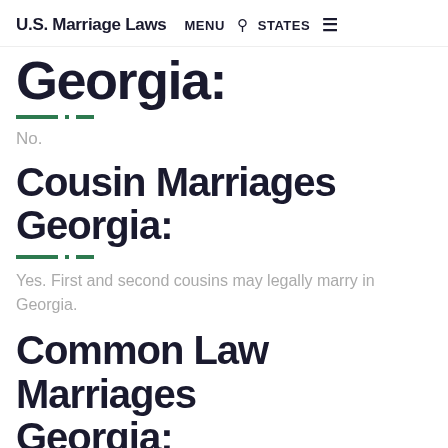U.S. Marriage Laws  MENU  🔍  STATES  ☰
Georgia:
No.
Cousin Marriages Georgia:
Yes. First and second cousins may legally marry in Georgia.
Common Law Marriages Georgia: